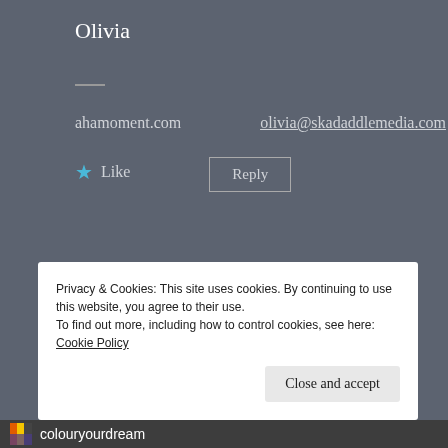Olivia
ahamoment.com
olivia@skadaddlemedia.com
★ Like
Reply
Privacy & Cookies: This site uses cookies. By continuing to use this website, you agree to their use.
To find out more, including how to control cookies, see here: Cookie Policy
Close and accept
colouryourdream